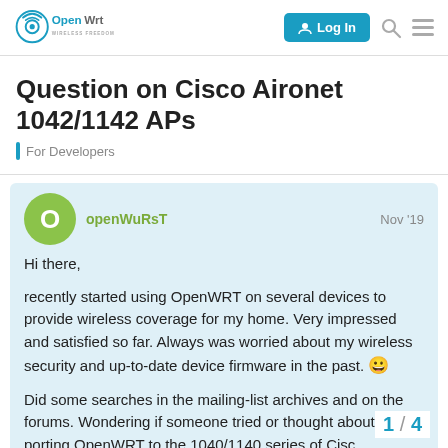OpenWrt — Wireless Freedom | Log In
Question on Cisco Aironet 1042/1142 APs
For Developers
openWuRsT  Nov '19
Hi there,
recently started using OpenWRT on several devices to provide wireless coverage for my home. Very impressed and satisfied so far. Always was worried about my wireless security and up-to-date device firmware in the past. 😀
Did some searches in the mailing-list archives and on the forums. Wondering if someone tried or thought about porting OpenWRT to the 1040/1140 series of Cisco access points.
1 / 4